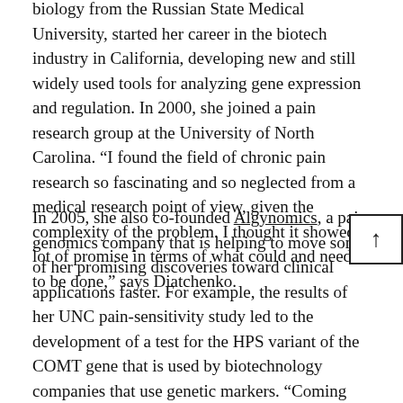biology from the Russian State Medical University, started her career in the biotech industry in California, developing new and still widely used tools for analyzing gene expression and regulation. In 2000, she joined a pain research group at the University of North Carolina. “I found the field of chronic pain research so fascinating and so neglected from a medical research point of view, given the complexity of the problem. I thought it showed a lot of promise in terms of what could and needed to be done,” says Diatchenko.
In 2005, she also co-founded Algynomics, a pain genomics company that is helping to move some of her promising discoveries toward clinical applications faster. For example, the results of her UNC pain-sensitivity study led to the development of a test for the HPS variant of the COMT gene that is used by biotechnology companies that use genetic markers. “Coming from an industry background, I saw Algynomics as providing me with the opportunity to oversee the transformation process from discovery to application. Also, by collaborating with pharmaceutical companies, it gives our research group access to